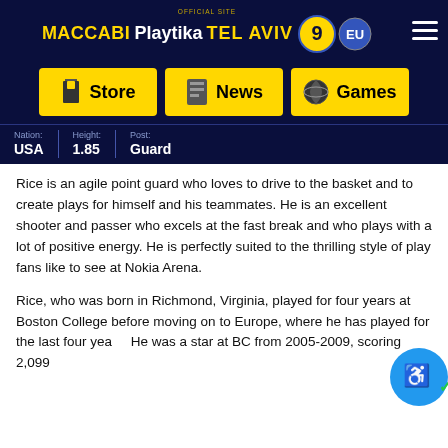Official site MACCABI Playtika TEL AVIV
[Figure (screenshot): Navigation bar with Store, News, and Games buttons in yellow on dark blue background]
| Nation: | Height: | Post: |
| --- | --- | --- |
| USA | 1.85 | Guard |
Rice is an agile point guard who loves to drive to the basket and to create plays for himself and his teammates. He is an excellent shooter and passer who excels at the fast break and who plays with a lot of positive energy. He is perfectly suited to the thrilling style of play fans like to see at Nokia Arena.
Rice, who was born in Richmond, Virginia, played for four years at Boston College before moving on to Europe, where he has played for the last four years. He was a star at BC from 2005-2009, scoring 2,099 points and becoming the fifth-best scorer on the all-time...